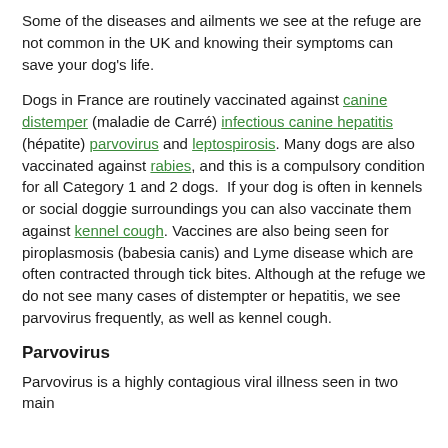Some of the diseases and ailments we see at the refuge are not common in the UK and knowing their symptoms can save your dog's life.
Dogs in France are routinely vaccinated against canine distemper (maladie de Carré) infectious canine hepatitis (hépatite) parvovirus and leptospirosis. Many dogs are also vaccinated against rabies, and this is a compulsory condition for all Category 1 and 2 dogs. If your dog is often in kennels or social doggie surroundings you can also vaccinate them against kennel cough. Vaccines are also being seen for piroplasmosis (babesia canis) and Lyme disease which are often contracted through tick bites. Although at the refuge we do not see many cases of distempter or hepatitis, we see parvovirus frequently, as well as kennel cough.
Parvovirus
Parvovirus is a highly contagious viral illness seen in two main